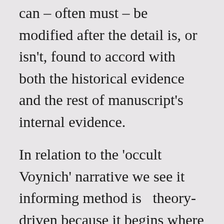can – often must – be modified after the detail is, or isn't, found to accord with both the historical evidence and the rest of manuscript's internal evidence.
In relation to the 'occult Voynich' narrative we see it informing method is  theory-driven because it begins where it ends: with the Germanic/central European theory or some other theory-defined locus, and without any effort to honestly consider the evidence for any other possibility.  No-one has, compared and contrasted – for example – alchemical images from Spain, England, Italy, France, Sicily and Byzantium or the Aegean islands and concluded that